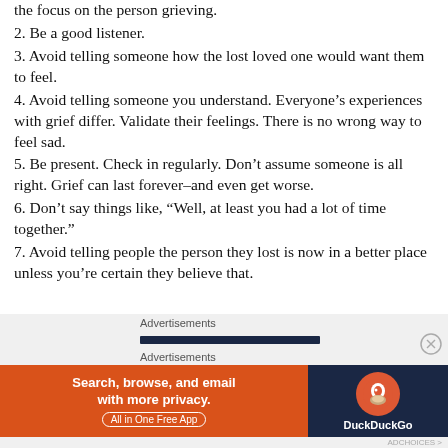the focus on the person grieving.
2. Be a good listener.
3. Avoid telling someone how the lost loved one would want them to feel.
4. Avoid telling someone you understand. Everyone’s experiences with grief differ. Validate their feelings. There is no wrong way to feel sad.
5. Be present. Check in regularly. Don’t assume someone is all right. Grief can last forever–and even get worse.
6. Don’t say things like, “Well, at least you had a lot of time together.”
7. Avoid telling people the person they lost is now in a better place unless you’re certain they believe that.
Advertisements
[Figure (infographic): DuckDuckGo advertisement banner: orange section with text 'Search, browse, and email with more privacy. All in One Free App' and dark section with DuckDuckGo logo]